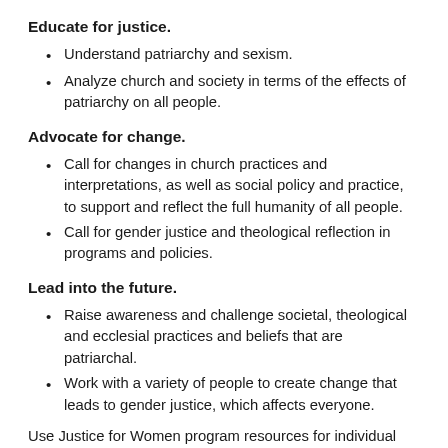Educate for justice.
Understand patriarchy and sexism.
Analyze church and society in terms of the effects of patriarchy on all people.
Advocate for change.
Call for changes in church practices and interpretations, as well as social policy and practice, to support and reflect the full humanity of all people.
Call for gender justice and theological reflection in programs and policies.
Lead into the future.
Raise awareness and challenge societal, theological and ecclesial practices and beliefs that are patriarchal.
Work with a variety of people to create change that leads to gender justice, which affects everyone.
Use Justice for Women program resources for individual